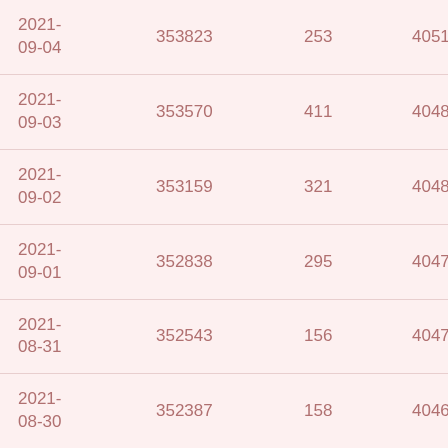| 2021-09-04 | 353823 | 253 | 4051 | 3 |
| 2021-09-03 | 353570 | 411 | 4048 | 0 |
| 2021-09-02 | 353159 | 321 | 4048 | 1 |
| 2021-09-01 | 352838 | 295 | 4047 | 0 |
| 2021-08-31 | 352543 | 156 | 4047 | 1 |
| 2021-08-30 | 352387 | 158 | 4046 | 0 |
| 2021-08-29 | 352229 | 239 | 4046 | 0 |
| 2021- | 351999 | 267 | 4046 | 0 |